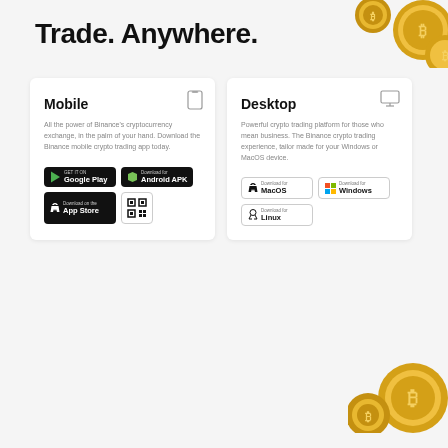Trade. Anywhere.
[Figure (illustration): Gold Bitcoin coins in top-right corner]
Mobile
All the power of Binance's cryptocurrency exchange, in the palm of your hand. Download the Binance mobile crypto trading app today.
[Figure (screenshot): Google Play store download button]
[Figure (screenshot): Download Android APK button]
[Figure (screenshot): Download on the App Store button]
[Figure (screenshot): QR code button]
Desktop
Powerful crypto trading platform for those who mean business. The Binance crypto trading experience, tailor made for your Windows or MacOS device.
[Figure (screenshot): Download for MacOS button]
[Figure (screenshot): Download for Windows button]
[Figure (screenshot): Download for Linux button]
[Figure (illustration): Gold Bitcoin coins in bottom-right corner]